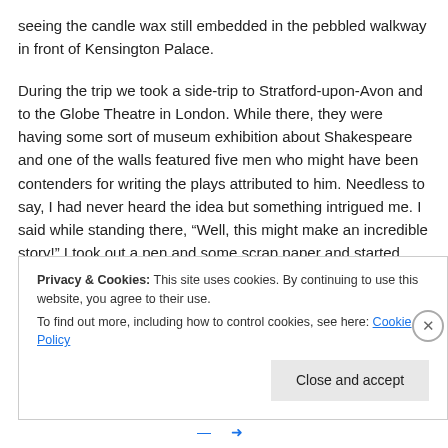seeing the candle wax still embedded in the pebbled walkway in front of Kensington Palace.
During the trip we took a side-trip to Stratford-upon-Avon and to the Globe Theatre in London. While there, they were having some sort of museum exhibition about Shakespeare and one of the walls featured five men who might have been contenders for writing the plays attributed to him. Needless to say, I had never heard the idea but something intrigued me. I said while standing there, “Well, this might make an incredible story!” I took out a pen and some scrap paper and started writing notes, especially about Christopher Marlowe whose eyes seem to draw me in that day.
Privacy & Cookies: This site uses cookies. By continuing to use this website, you agree to their use.
To find out more, including how to control cookies, see here: Cookie Policy